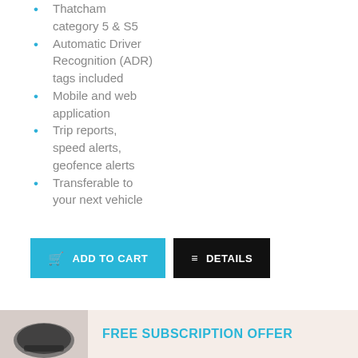Thatcham category 5 & S5
Automatic Driver Recognition (ADR) tags included
Mobile and web application
Trip reports, speed alerts, geofence alerts
Transferable to your next vehicle
[Figure (screenshot): ADD TO CART button (blue) and DETAILS button (black)]
[Figure (infographic): Banner strip with device image and FREE SUBSCRIPTION OFFER text in teal]